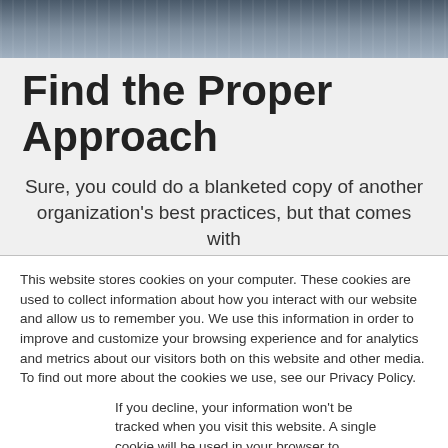[Figure (photo): Partial photo strip showing people in business attire]
Find the Proper Approach
Sure, you could do a blanketed copy of another organization's best practices, but that comes with
This website stores cookies on your computer. These cookies are used to collect information about how you interact with our website and allow us to remember you. We use this information in order to improve and customize your browsing experience and for analytics and metrics about our visitors both on this website and other media. To find out more about the cookies we use, see our Privacy Policy.
If you decline, your information won't be tracked when you visit this website. A single cookie will be used in your browser to remember your preference not to be tracked.
Accept
Decline